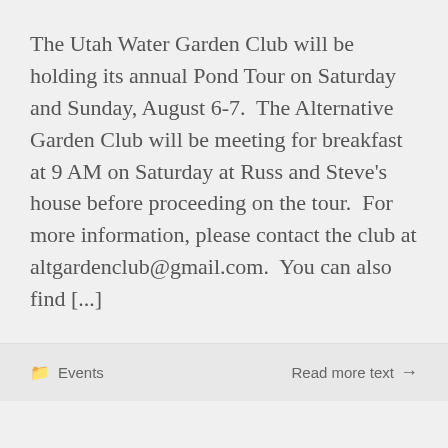The Utah Water Garden Club will be holding its annual Pond Tour on Saturday and Sunday, August 6-7.  The Alternative Garden Club will be meeting for breakfast at 9 AM on Saturday at Russ and Steve's house before proceeding on the tour.  For more information, please contact the club at altgardenclub@gmail.com.  You can also find [...]
Events
Read more text →
New Roots Urban Farm Tour, August 3, 2016